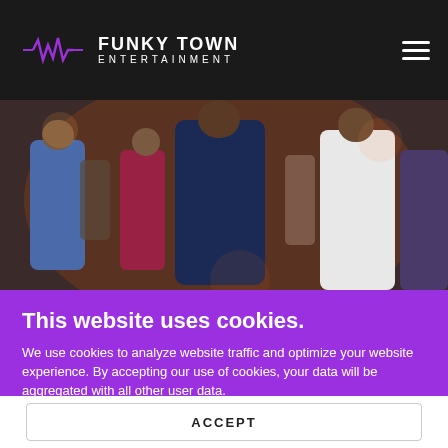FUNKY TOWN ENTERTAINMENT
[Figure (photo): People dancing at a party event, dressed in formal/semi-formal attire, dark indoor venue]
Partying
This website uses cookies.
We use cookies to analyze website traffic and optimize your website experience. By accepting our use of cookies, your data will be aggregated with all other user data.
ACCEPT